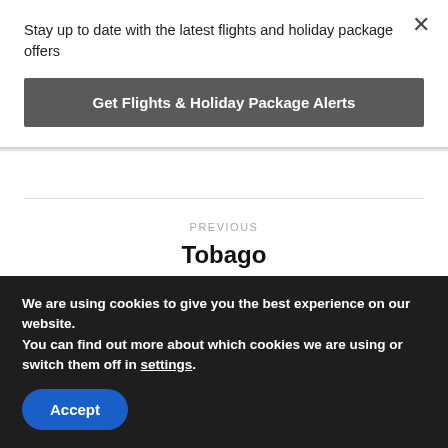Stay up to date with the latest flights and holiday package offers
Get Flights & Holiday Package Alerts
PREVIOUS
Tobago
NEXT
We are using cookies to give you the best experience on our website.
You can find out more about which cookies we are using or switch them off in settings.
Accept